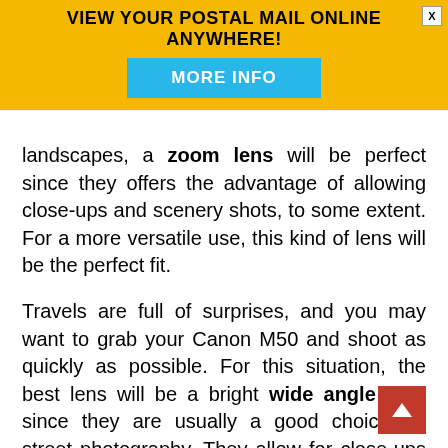[Figure (infographic): Advertisement banner with yellow background. Text reads 'VIEW YOUR POSTAL MAIL ONLINE ANYWHERE!' with a close button (X) and a cyan 'MORE INFO' button.]
landscapes, a zoom lens will be perfect since they offers the advantage of allowing close-ups and scenery shots, to some extent. For a more versatile use, this kind of lens will be the perfect fit.
Travels are full of surprises, and you may want to grab your Canon M50 and shoot as quickly as possible. For this situation, the best lens will be a bright wide angle lens since they are usually a good choice for street photography. They allow for close-ups and large scenes, and are generally pretty small and convenient to carry. If you are planning a city trip, this kind of lens should be attached in permanence to the body of your Canon M50.